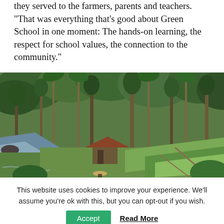they served to the farmers, parents and teachers. “That was everything that’s good about Green School in one moment: The hands-on learning, the respect for school values, the connection to the community.”
[Figure (photo): Aerial or elevated view of a lush tropical landscape with dense green trees, a river with rocky banks on the left, tall palm trees, a small thatched-roof hut or pavilion in the center, terraced garden plots on the right, and a person with a hat visible at the bottom.]
This website uses cookies to improve your experience. We'll assume you're ok with this, but you can opt-out if you wish.
Accept   Read More